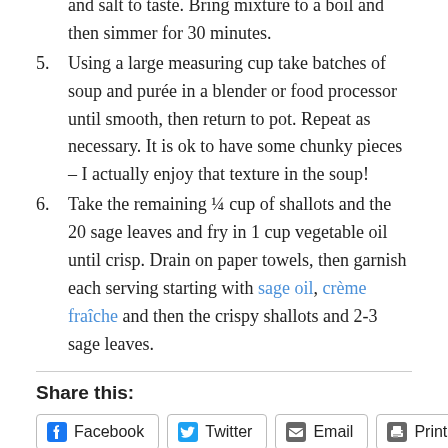and salt to taste. Bring mixture to a boil and then simmer for 30 minutes.
5. Using a large measuring cup take batches of soup and purée in a blender or food processor until smooth, then return to pot. Repeat as necessary. It is ok to have some chunky pieces – I actually enjoy that texture in the soup!
6. Take the remaining ¼ cup of shallots and the 20 sage leaves and fry in 1 cup vegetable oil until crisp. Drain on paper towels, then garnish each serving starting with sage oil, crème fraîche and then the crispy shallots and 2-3 sage leaves.
Share this:
Facebook  Twitter  Email  Print